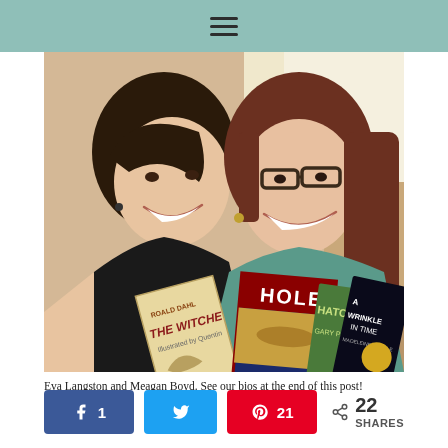≡
[Figure (photo): Two women smiling and holding up children's books including Holes by Louis Sachar, The Witches by Roald Dahl, Hatchet by Gary Paulsen, and A Wrinkle in Time by Madeleine L'Engle.]
Eva Langston and Meagan Boyd. See our bios at the end of this post!
k 1  (Facebook share button with count 1)  Twitter share button  p 21  (Pinterest share button with count 21)  < 22 SHARES